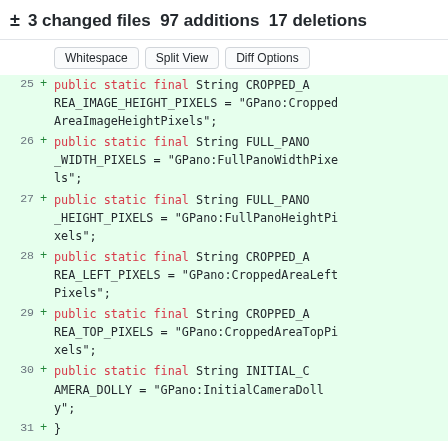± 3 changed files 97 additions 17 deletions
Whitespace | Split View | Diff Options
[Figure (screenshot): Code diff showing lines 25-31 with added Java public static final String constants for Google Photo Sphere XMP metadata fields: CROPPED_AREA_IMAGE_HEIGHT_PIXELS, FULL_PANO_WIDTH_PIXELS, FULL_PANO_HEIGHT_PIXELS, CROPPED_AREA_LEFT_PIXELS, CROPPED_AREA_TOP_PIXELS, INITIAL_CAMERA_DOLLY, and closing brace.]